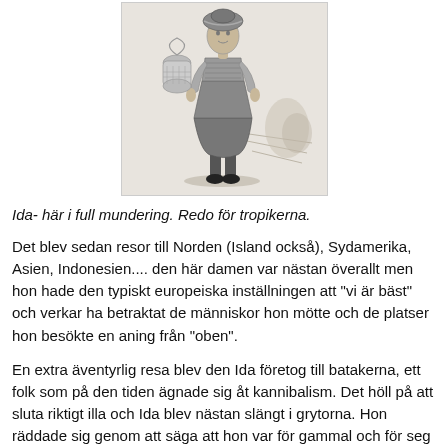[Figure (illustration): Historical engraving/illustration showing a person (Ida) in full tropical expedition gear, standing pose, wearing layered clothing and shoes, with a background suggesting an outdoor scene.]
Ida- här i full mundering. Redo för tropikerna.
Det blev sedan resor till Norden (Island också), Sydamerika, Asien, Indonesien.... den här damen var nästan överallt men hon hade den typiskt europeiska inställningen att "vi är bäst" och verkar ha betraktat de människor hon mötte och de platser hon besökte en aning från "oben".
En extra äventyrlig resa blev den Ida företog till batakerna, ett folk som på den tiden ägnade sig åt kannibalism. Det höll på att sluta riktigt illa och Ida blev nästan slängt i grytorna. Hon räddade sig genom att säga att hon var för gammal och för seg för att utgöra en god måltid. Så slapp hon undan med livet.